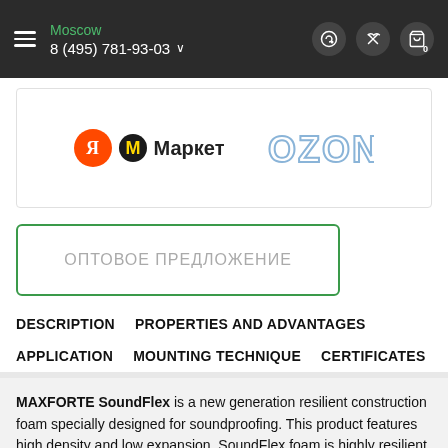Moscow  8 (495) 781-93-03
[Figure (logo): Yandex Market and OZON marketplace logos]
ОПТОВОЕ ПРЕДЛОЖЕНИЕ
DESCRIPTION  PROPERTIES AND ADVANTAGES  APPLICATION  MOUNTING TECHNIQUE  CERTIFICATES
MAXFORTE SoundFlex is a new generation resilient construction foam specially designed for soundproofing. This product features high density and low expansion. SoundFlex foam is highly resilient, stretchable and capable to restore the original shape after being